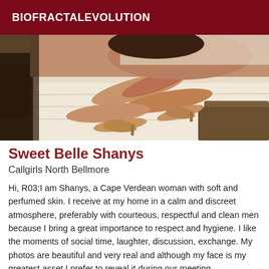BIOFRACTALEVOLUTION
[Figure (photo): Photo showing legs and high-heeled shoes on a bed with white sheets and a dark blanket]
Sweet Belle Shanys
Callgirls North Bellmore
Hi, R03;I am Shanys, a Cape Verdean woman with soft and perfumed skin. I receive at my home in a calm and discreet atmosphere, preferably with courteous, respectful and clean men because I bring a great importance to respect and hygiene. I like the moments of social time, laughter, discussion, exchange. My photos are beautiful and very real and although my face is my greatest asset I prefer to reveal it during our meeting.